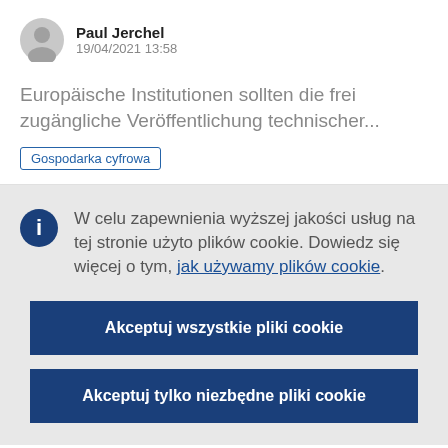Paul Jerchel
19/04/2021 13:58
Europäische Institutionen sollten die frei zugängliche Veröffentlichung technischer...
Gospodarka cyfrowa
W celu zapewnienia wyższej jakości usług na tej stronie użyto plików cookie. Dowiedz się więcej o tym, jak używamy plików cookie.
Akceptuj wszystkie pliki cookie
Akceptuj tylko niezbędne pliki cookie